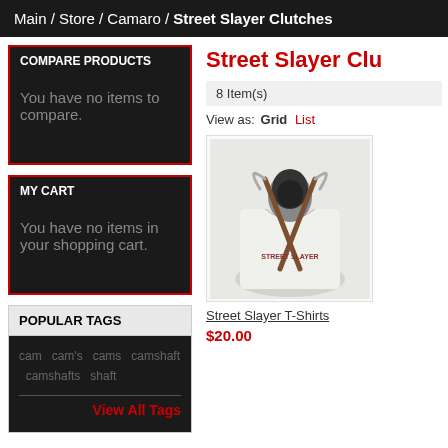Main / Store / Camaro / Street Slayer Clutches
COMPARE PRODUCTS
You have no items to compare.
MY CART
You have no items in your shopping cart.
POPULAR TAGS
cam  cam's  cams  camshaft  camshafts  shaft
View All Tags
Street Slayer Clutches
8 Item(s)
View as: Grid  List
[Figure (photo): Street Slayer T-shirt with grim reaper holding scythes graphic on white shirt]
Street Slayer T-Shirts
$20.00